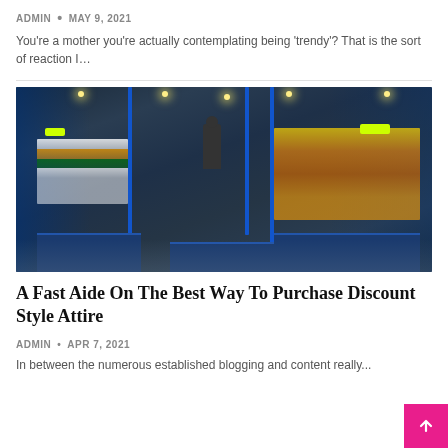ADMIN • MAY 9, 2021
You're a mother you're actually contemplating being 'trendy'? That is the sort of reaction I…
[Figure (photo): Interior of a modern clothing boutique with blue metal shelving racks, colorful garments on display, yellow-green hangers, a mannequin in the center, and blue display platforms on the floor.]
A Fast Aide On The Best Way To Purchase Discount Style Attire
ADMIN • APR 7, 2021
In between the numerous established blogging and content really...